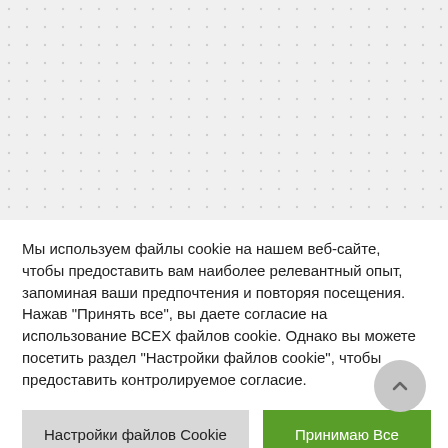[Figure (screenshot): Dotted/grid background area representing a webpage content area, light gray with dot grid pattern]
Мы используем файлы cookie на нашем веб-сайте, чтобы предоставить вам наиболее релевантный опыт, запоминая ваши предпочтения и повторяя посещения. Нажав "Принять все", вы даете согласие на использование ВСЕХ файлов cookie. Однако вы можете посетить раздел "Настройки файлов cookie", чтобы предоставить контролируемое согласие.
Настройки файлов Cookie
Принимаю Все